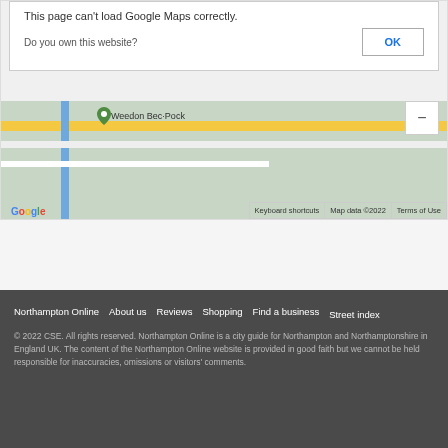[Figure (screenshot): Google Maps embed showing an error dialog 'This page can't load Google Maps correctly.' with a 'Do you own this website?' prompt and an OK button, overlaid on a partial map view showing Weedon Bec area. Includes Google logo, Keyboard shortcuts, Map data ©2022, and Terms of Use labels.]
Northampton Online  About us  Reviews  Shopping  Find a business  Street index
© 2022 CSE. All rights reserved. Northampton Online is a city guide for Northampton and Northamptonshire in England UK. The content of the Northampton Online website is provided in good faith but we cannot be held responsible for inaccuracies, omissions or visitors' comments.